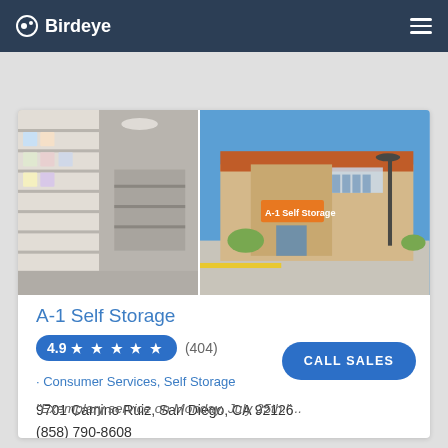Birdeye
[Figure (photo): Two photos of A-1 Self Storage: interior shot showing merchandise display wall on the left, exterior shot showing the building facade and parking lot on the right]
A-1 Self Storage
4.9 ★ ★ ★ ★ ★  (404)
· Consumer Services, Self Storage
9701 Camino Ruiz, San Diego, CA 92126
(858) 790-8608
"Exemplary service on Monday, July 25th."...
CALL SALES